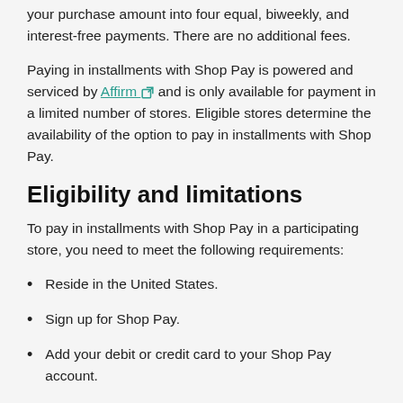your purchase amount into four equal, biweekly, and interest-free payments. There are no additional fees.
Paying in installments with Shop Pay is powered and serviced by Affirm and is only available for payment in a limited number of stores. Eligible stores determine the availability of the option to pay in installments with Shop Pay.
Eligibility and limitations
To pay in installments with Shop Pay in a participating store, you need to meet the following requirements:
Reside in the United States.
Sign up for Shop Pay.
Add your debit or credit card to your Shop Pay account.